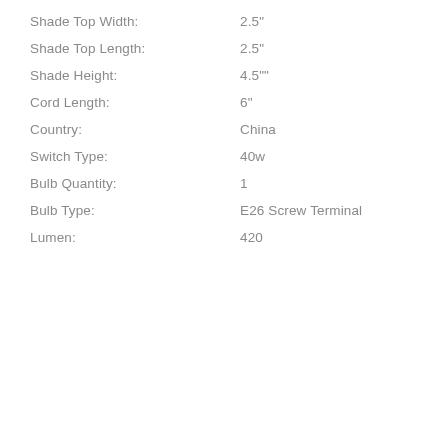Shade Top Width: 2.5"
Shade Top Length: 2.5"
Shade Height: 4.5""
Cord Length: 6"
Country: China
Switch Type: 40w
Bulb Quantity: 1
Bulb Type: E26 Screw Terminal
Lumen: 420